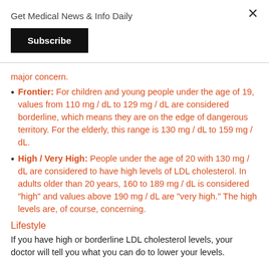Get Medical News & Info Daily
major concern.
Frontier: For children and young people under the age of 19, values from 110 mg / dL to 129 mg / dL are considered borderline, which means they are on the edge of dangerous territory. For the elderly, this range is 130 mg / dL to 159 mg / dL.
High / Very High: People under the age of 20 with 130 mg / dL are considered to have high levels of LDL cholesterol. In adults older than 20 years, 160 to 189 mg / dL is considered "high" and values above 190 mg / dL are "very high." The high levels are, of course, concerning.
Lifestyle
If you have high or borderline LDL cholesterol levels, your doctor will tell you what you can do to lower your levels.